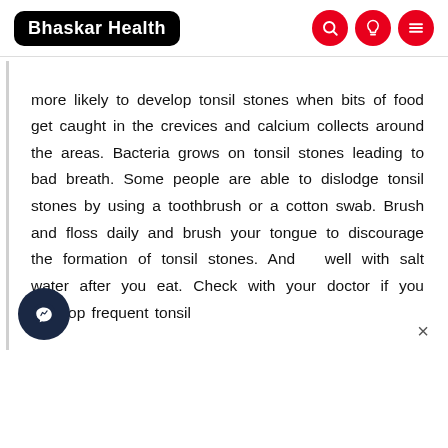Bhaskar Health
more likely to develop tonsil stones when bits of food get caught in the crevices and calcium collects around the areas. Bacteria grows on tonsil stones leading to bad breath. Some people are able to dislodge tonsil stones by using a toothbrush or a cotton swab. Brush and floss daily and brush your tongue to discourage the formation of tonsil stones. And [g]argle well with salt water after you eat. Check with your doctor if you develop frequent tonsil